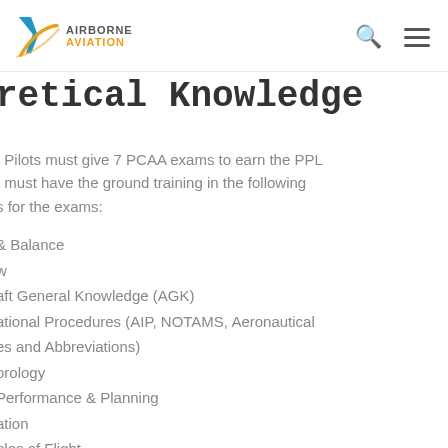Airborne Aviation
retical Knowledge
Pilots must give 7 PCAA exams to earn the PPL must have the ground training in the following s for the exams:
& Balance
w
aft General Knowledge (AGK)
ational Procedures (AIP, NOTAMS, Aeronautical es and Abbreviations)
orology
Performance & Planning
ation
ples of Flight